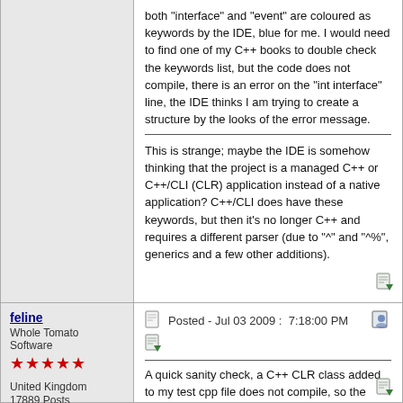both "interface" and "event" are coloured as keywords by the IDE, blue for me. I would need to find one of my C++ books to double check the keywords list, but the code does not compile, there is an error on the "int interface" line, the IDE thinks I am trying to create a structure by the looks of the error message.
This is strange; maybe the IDE is somehow thinking that the project is a managed C++ or C++/CLI (CLR) application instead of a native application? C++/CLI does have these keywords, but then it's no longer C++ and requires a different parser (due to "^" and "^%", generics and a few other additions).
feline
Whole Tomato Software
United Kingdom
17889 Posts
Posted - Jul 03 2009 :  7:18:00 PM
A quick sanity check, a C++ CLR class added to my test cpp file does not compile, so the compiler does think this is a standard C++ file, and not a C++ CLR file.
zen is the art of being at one with the two'ness